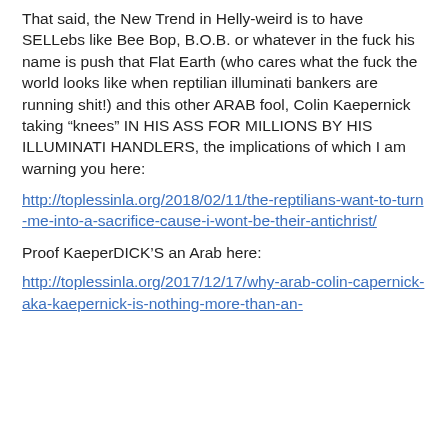That said, the New Trend in Helly-weird is to have SELLebs like Bee Bop, B.O.B. or whatever in the fuck his name is push that Flat Earth (who cares what the fuck the world looks like when reptilian illuminati bankers are running shit!) and this other ARAB fool, Colin Kaepernick taking “knees” IN HIS ASS FOR MILLIONS BY HIS ILLUMINATI HANDLERS, the implications of which I am warning you here:
http://toplessinla.org/2018/02/11/the-reptilians-want-to-turn-me-into-a-sacrifice-cause-i-wont-be-their-antichrist/
Proof KaeperDICK’S an Arab here:
http://toplessinla.org/2017/12/17/why-arab-colin-capernick-aka-kaepernick-is-nothing-more-than-an-